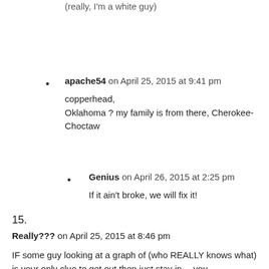(really, I'm a white guy)
apache54 on April 25, 2015 at 9:41 pm
copperhead,
Oklahoma ? my family is from there, Cherokee-Choctaw
Genius on April 26, 2015 at 2:25 pm
If it ain't broke, we will fix it!
15.
Really??? on April 25, 2015 at 8:46 pm
IF some guy looking at a graph of (who REALLY knows what) is your only clue to get out then just stay in… you